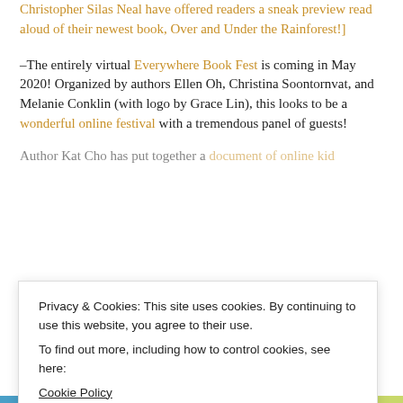Christopher Silas Neal have offered readers a sneak preview read aloud of their newest book, Over and Under the Rainforest!]
–The entirely virtual Everywhere Book Fest is coming in May 2020! Organized by authors Ellen Oh, Christina Soontornvat, and Melanie Conklin (with logo by Grace Lin), this looks to be a wonderful online festival with a tremendous panel of guests!
Author Kat Cho has put together a document of online kid
Privacy & Cookies: This site uses cookies. By continuing to use this website, you agree to their use.
To find out more, including how to control cookies, see here:
Cookie Policy
CLOSE AND ACCEPT